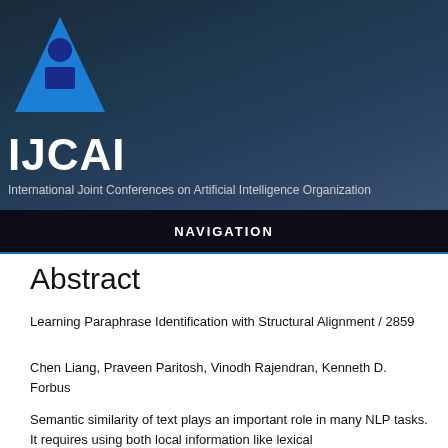[Figure (logo): IJCAI logo: blue triangle with a circle and rectangle inside, representing a person]
IJCAI
International Joint Conferences on Artificial Intelligence Organization
NAVIGATION
Abstract
Learning Paraphrase Identification with Structural Alignment / 2859
Chen Liang, Praveen Paritosh, Vinodh Rajendran, Kenneth D. Forbus
Semantic similarity of text plays an important role in many NLP tasks. It requires using both local information like lexical properties and global information like structure.